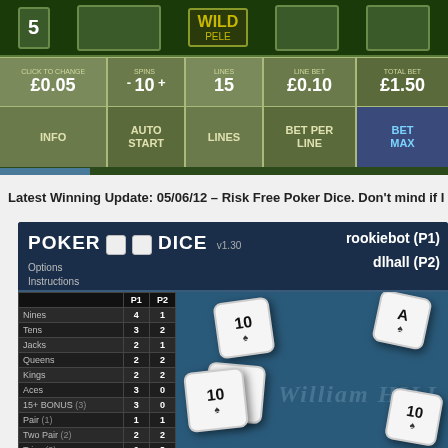[Figure (screenshot): Slot machine game interface showing WILD PELE game with controls: SPINS 10, LINES 15, LINE BET £0.10, TOTAL BET £1.50, and buttons INFO, AUTO START, LINES, BET PER LINE, BET MAX]
Latest Winning Update: 05/06/12 – Risk Free Poker Dice. Don't mind if I do
[Figure (screenshot): Poker Dice game v1.30 showing score table with players rookiebot (P1) and dlhall (P2). Score rows: Nines 4/1, Tens 3/2, Jacks 2/1, Queens 2/2, Kings 2/2, Aces 3/0, 15+ BONUS(3) 3/0, Pair(1) 1/1, Two Pair(2) 2/2, Trips(3) 0/3, Straight(4) 0/4, Full House(4) 4/4, 4 of a Kind(4) 4/4, 5 of a Kind(5) 0/5. Dice shown on blue table with William Hill watermark.]